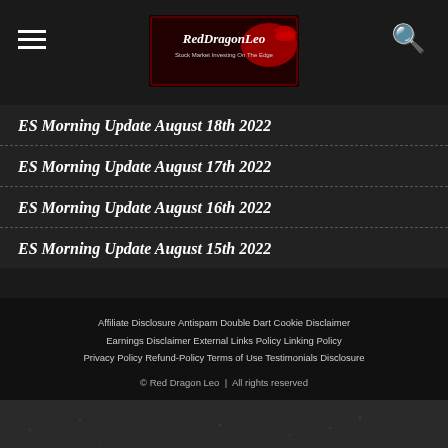[Figure (logo): Red Dragon Leo website logo with dragon illustration and tagline 'Stock Market Investing On The Edge']
ES Morning Update August 18th 2022
ES Morning Update August 17th 2022
ES Morning Update August 16th 2022
ES Morning Update August 15th 2022
Affiliate Disclosure  Antispam  Double Dart Cookie  Disclaimer  Earnings Disclaimer  External Links Policy  Linking Policy  Privacy Policy  Refund-Policy  Terms of Use  Testimonials Disclosure
© Red Dragon Leo | All rights reserved